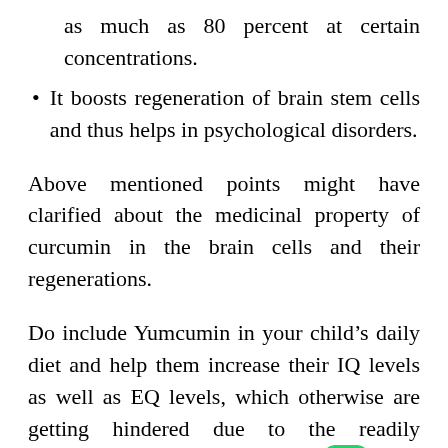as much as 80 percent at certain concentrations.
It boosts regeneration of brain stem cells and thus helps in psychological disorders.
Above mentioned points might have clarified about the medicinal property of curcumin in the brain cells and their regenerations.
Do include Yumcumin in your child’s daily diet and help them increase their IQ levels as well as EQ levels, which otherwise are getting hindered due to the readily available products available in th[WhatsApp icon]t